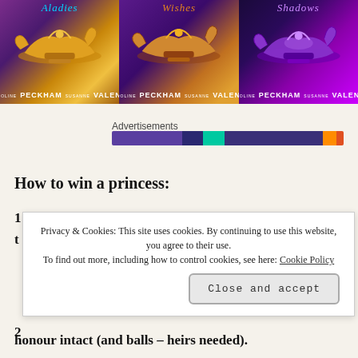[Figure (illustration): Three fantasy book covers side by side, each featuring a glowing oil lamp on a jewel-toned background (gold/purple, orange/purple, silver/purple). Each cover shows author names Caroline Peckham and Susanne Valenti at the bottom. Decorative script titles at top in blue/teal.]
Advertisements
[Figure (infographic): Colorful advertisement progress bar with segments in purple, dark blue, teal/green, dark purple, orange, and dark red.]
How to win a princess:
1
t
[Figure (screenshot): Cookie consent overlay popup. Text reads: Privacy & Cookies: This site uses cookies. By continuing to use this website, you agree to their use. To find out more, including how to control cookies, see here: Cookie Policy. Button: Close and accept]
2
honour intact (and balls – heirs needed).